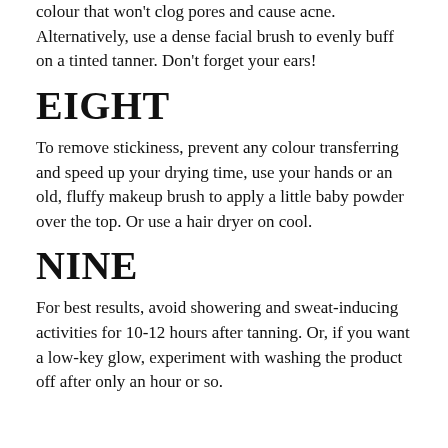colour that won't clog pores and cause acne. Alternatively, use a dense facial brush to evenly buff on a tinted tanner. Don't forget your ears!
EIGHT
To remove stickiness, prevent any colour transferring and speed up your drying time, use your hands or an old, fluffy makeup brush to apply a little baby powder over the top. Or use a hair dryer on cool.
NINE
For best results, avoid showering and sweat-inducing activities for 10-12 hours after tanning. Or, if you want a low-key glow, experiment with washing the product off after only an hour or so.